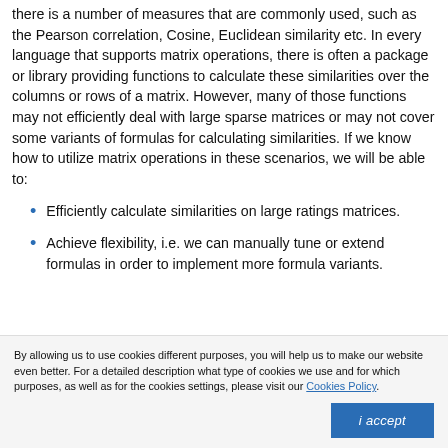there is a number of measures that are commonly used, such as the Pearson correlation, Cosine, Euclidean similarity etc. In every language that supports matrix operations, there is often a package or library providing functions to calculate these similarities over the columns or rows of a matrix. However, many of those functions may not efficiently deal with large sparse matrices or may not cover some variants of formulas for calculating similarities. If we know how to utilize matrix operations in these scenarios, we will be able to:
Efficiently calculate similarities on large ratings matrices.
Achieve flexibility, i.e. we can manually tune or extend formulas in order to implement more formula variants.
By allowing us to use cookies different purposes, you will help us to make our website even better. For a detailed description what type of cookies we use and for which purposes, as well as for the cookies settings, please visit our Cookies Policy.